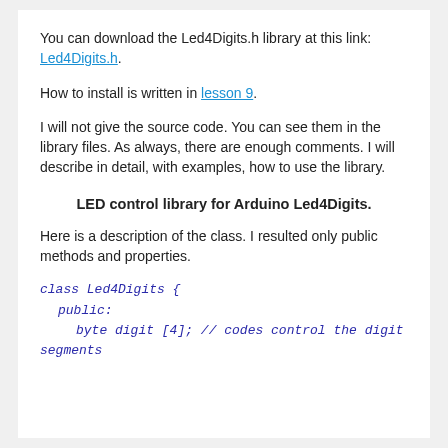You can download the Led4Digits.h library at this link: Led4Digits.h.
How to install is written in lesson 9.
I will not give the source code. You can see them in the library files. As always, there are enough comments. I will describe in detail, with examples, how to use the library.
LED control library for Arduino Led4Digits.
Here is a description of the class. I resulted only public methods and properties.
class Led4Digits {
  public:
    byte digit [4]; // codes control the digit segments